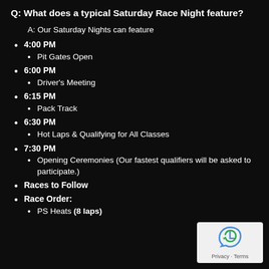Q: What does a typical Saturday Race Night feature?
A: Our Saturday Nights can feature
4:00 PM
Pit Gates Open
6:00 PM
Driver's Meeting
6:15 PM
Pack Track
6:30 PM
Hot Laps & Qualifying for All Classes
7:30 PM
Opening Ceremonies (Our fastest qualifiers will be asked to participate.)
Races to Follow
Race Order:
PS Heats (8 laps)